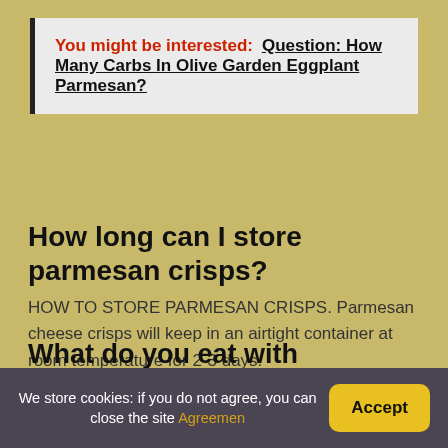You might be interested: Question: How Many Carbs In Olive Garden Eggplant Parmesan?
How long can I store parmesan crisps?
HOW TO STORE PARMESAN CRISPS. Parmesan cheese crisps will keep in an airtight container at room temperature for 2-3 days.
What do you eat with Parmesan crisps?
What To Eat With Parmesan Crisps
Add them to your salads.
We store cookies: if you do not agree, you can close the site Agreemen